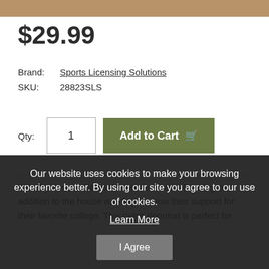[Figure (photo): Product image strip (top portion of doormat image in tan/brown color)]
$29.99
Brand: Sports Licensing Solutions
SKU: 28823SLS
Qty: 1  [Add to Cart]
This Tennessee Titans Starter doormat will be a great addition to the house wanting to show their support for their favorite college. This nylon doormat is perfect for
Our website uses cookies to make your browsing experience better. By using our site you agree to our use of cookies. Learn More  I Agree